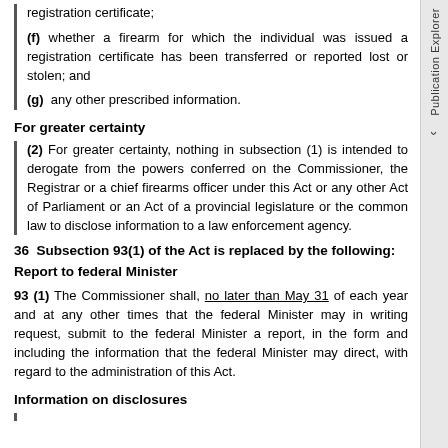registration certificate;
(f) whether a firearm for which the individual was issued a registration certificate has been transferred or reported lost or stolen; and
(g) any other prescribed information.
For greater certainty
(2) For greater certainty, nothing in subsection (1) is intended to derogate from the powers conferred on the Commissioner, the Registrar or a chief firearms officer under this Act or any other Act of Parliament or an Act of a provincial legislature or the common law to disclose information to a law enforcement agency.
36  Subsection 93(1) of the Act is replaced by the following:
Report to federal Minister
93 (1) The Commissioner shall, no later than May 31 of each year and at any other times that the federal Minister may in writing request, submit to the federal Minister a report, in the form and including the information that the federal Minister may direct, with regard to the administration of this Act.
Information on disclosures